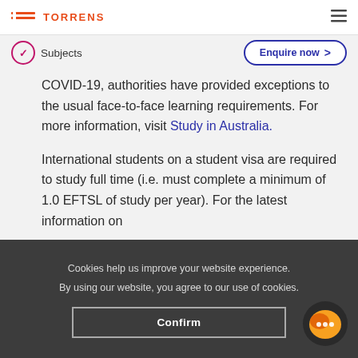TORRENS
Subjects
Enquire now
COVID-19, authorities have provided exceptions to the usual face-to-face learning requirements. For more information, visit Study in Australia.
International students on a student visa are required to study full time (i.e. must complete a minimum of 1.0 EFTSL of study per year). For the latest information on
Cookies help us improve your website experience. By using our website, you agree to our use of cookies.
Confirm